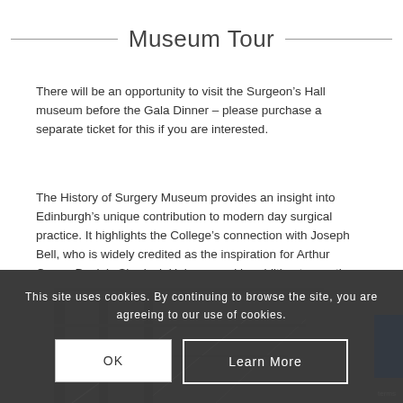Museum Tour
There will be an opportunity to visit the Surgeon’s Hall museum before the Gala Dinner – please purchase a separate ticket for this if you are interested.
The History of Surgery Museum provides an insight into Edinburgh’s unique contribution to modern day surgical practice. It highlights the College’s connection with Joseph Bell, who is widely credited as the inspiration for Arthur Conan Doyle’s Sherlock Holmes, and in addition traces the history of the Royal College of Surgeons of Edinburgh from its inception in 1505 to the present day.
[Figure (photo): Museum interior photograph showing a multi-storey gallery with architectural details, partially obscured by a cookie consent overlay]
This site uses cookies. By continuing to browse the site, you are agreeing to our use of cookies.
OK
Learn More